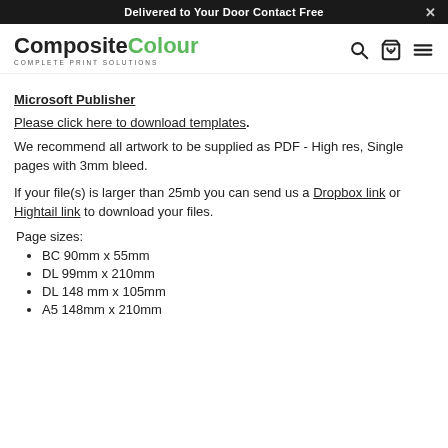Delivered to Your Door Contact Free
[Figure (logo): CompositeColour logo with text 'Complete Print Solutions' beneath, alongside search, cart (0), and menu icons]
Microsoft Publisher
Please click here to download templates.
We recommend all artwork to be supplied as PDF - High res, Single pages with 3mm bleed.
If your file(s) is larger than 25mb you can send us a Dropbox link or Hightail link to download your files.
Page sizes:
BC 90mm x 55mm
DL 99mm x 210mm
DL 148 mm x 105mm
A5 148mm x 210mm